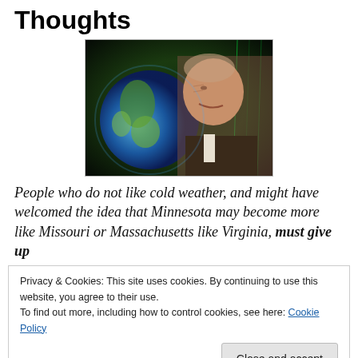Thoughts
[Figure (photo): Man looking at a globe of Earth with a cosmic digital background, side-profile close-up]
People who do not like cold weather, and might have welcomed the idea that Minnesota may become more like Missouri or Massachusetts like Virginia, must give up
Privacy & Cookies: This site uses cookies. By continuing to use this website, you agree to their use.
To find out more, including how to control cookies, see here: Cookie Policy
Close and accept